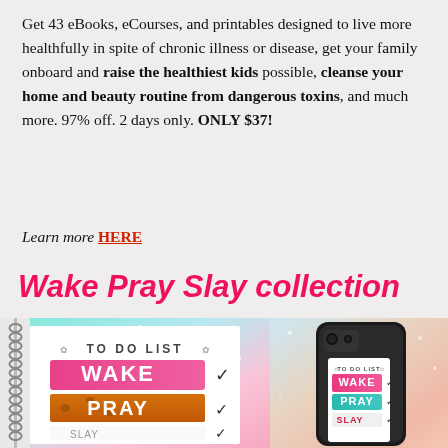Get 43 eBooks, eCourses, and printables designed to live more healthfully in spite of chronic illness or disease, get your family onboard and raise the healthiest kids possible, cleanse your home and beauty routine from dangerous toxins, and much more. 97% off. 2 days only. ONLY $37!
Learn more HERE
Wake Pray Slay collection
[Figure (photo): Spiral-bound notebook with colorful glitter background showing 'TO DO LIST' text and 'WAKE PRAY' in large letters with checkmarks]
[Figure (photo): Phone case with colorful background showing 'TO DO LIST' and 'WAKE PRAY' design with checkmarks]